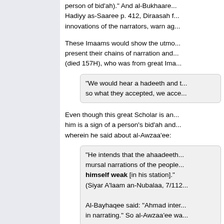person of bid'ah)." And al-Bukhaare... Hadiyy as-Saaree p. 412, Diraasah f... innovations of the narrators, warn ag...
These Imaams would show the utmo... present their chains of narration and... (died 157H), who was from great Ima...
"We would hear a hadeeth and t... so what they accepted, we acce...
Even though this great Scholar is an... him is a sign of a person's bid'ah and... wherein he said about al-Awzaa'ee:
"He intends that the ahaadeeth... mursal narrations of the people... himself weak [in his station]." (Siyar A'laam an-Nubalaa, 7/112...
Al-Bayhaqee said: "Ahmad inte... in narrating." So al-Awzaa'ee wa...